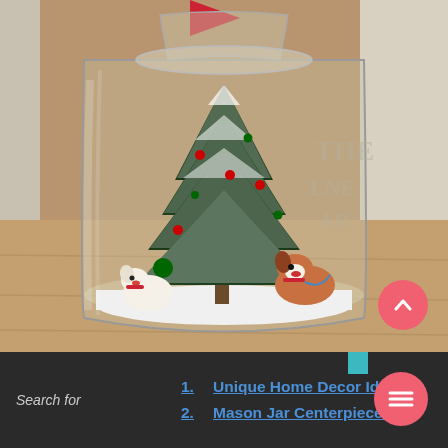[Figure (photo): A large glass mason jar containing a miniature Christmas snow globe scene: a snow-covered bottle brush tree decorated with small ornaments, two small dog figurines (one white, one brown and white) nestled in artificial snow at the base of the tree. The jar sits on a wooden floor. A coral/pink circular up-arrow button overlays the bottom-right of the photo.]
Search for
1. Unique Home Decor Ideas
2. Mason Jar Centerpieces